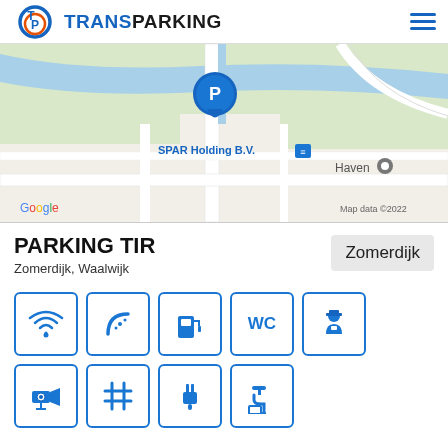TRANSPARKING
[Figure (map): Google Maps screenshot showing a parking location pin with 'P' icon near SPAR Holding B.V. and Haven in Waalwijk, Netherlands. Map data ©2022.]
PARKING TIR
Zomerdijk, Waalwijk
Zomerdijk
[Figure (infographic): Amenity icons: WiFi, truck wash/shower (curved road), fuel pump, WC (toilet), security guard, CCTV camera, grid/parking spaces, electric charging plug, water tap]